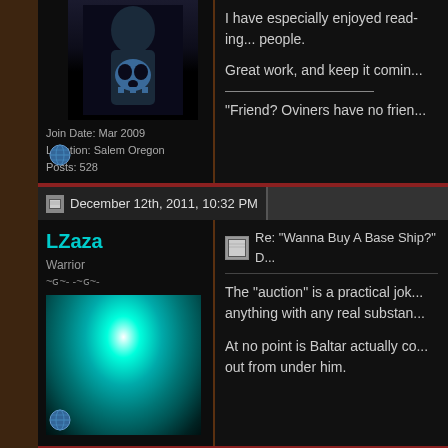I have especially enjoyed reading... people.
Great work, and keep it coming...
"Friend? Oviners have no frier...
Join Date: Mar 2009
Location: Salem Oregon
Posts: 528
December 12th, 2011, 10:32 PM
LZaza
Warrior
~&#x262;~- -~&#x262;~-
Join Date: Aug 2009
Location: The Empyrean
Posts: 238
Re: "Wanna Buy A Base Ship?" D...
The "auction" is a practical jok... anything with any real substan...
At no point is Baltar actually co... out from under him.